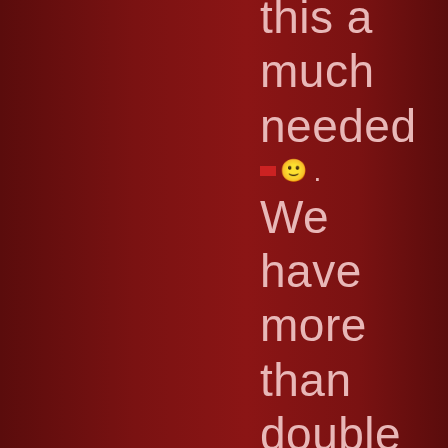this a much needed 🙂 . We have more than double the amount of forum members than this